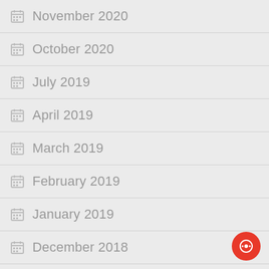November 2020
October 2020
July 2019
April 2019
March 2019
February 2019
January 2019
December 2018
November 2018
October 2018